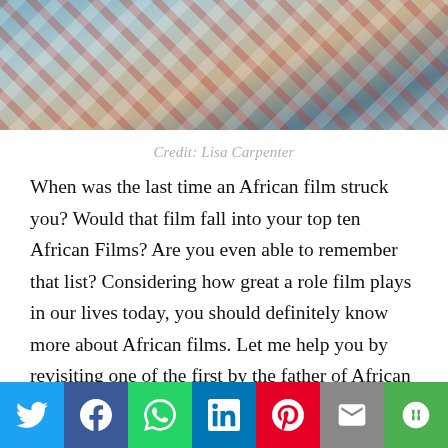[Figure (photo): Cropped photo showing colorful striped fabric or clothing detail, with blue, red, white stripes and a dark round object partially visible at top right.]
Credit: Lisa Carpenter
When was the last time an African film struck you? Would that film fall into your top ten African Films? Are you even able to remember that list? Considering how great a role film plays in our lives today, you should definitely know more about African films. Let me help you by revisiting one of the first by the father of African cinema:
[Figure (infographic): Social sharing bar with icons for Twitter, Facebook, WhatsApp, LinkedIn, Pinterest, Email, and More.]